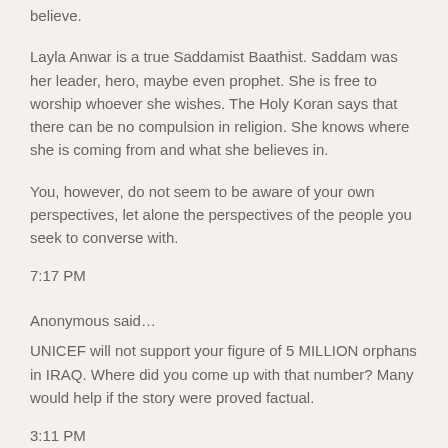believe.
Layla Anwar is a true Saddamist Baathist. Saddam was her leader, hero, maybe even prophet. She is free to worship whoever she wishes. The Holy Koran says that there can be no compulsion in religion. She knows where she is coming from and what she believes in.
You, however, do not seem to be aware of your own perspectives, let alone the perspectives of the people you seek to converse with.
7:17 PM
Anonymous said...
UNICEF will not support your figure of 5 MILLION orphans in IRAQ. Where did you come up with that number? Many would help if the story were proved factual.
3:11 PM